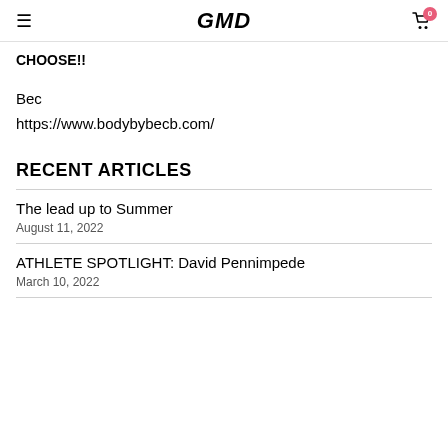GMD
CHOOSE!!
Bec
https://www.bodybybecb.com/
RECENT ARTICLES
The lead up to Summer
August 11, 2022
ATHLETE SPOTLIGHT: David Pennimpede
March 10, 2022